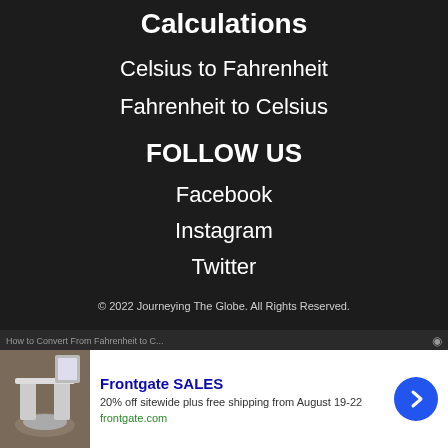Calculations
Celsius to Fahrenheit
Fahrenheit to Celsius
FOLLOW US
Facebook
Instagram
Twitter
© 2022 Journeying The Globe. All Rights Reserved.
How to Convert From Fahrenheit to C...
[Figure (photo): Advertisement for Frontgate SALES showing outdoor furniture. Text reads: Frontgate SALES, 20% off sitewide plus free shipping from August 19-22, frontgate.com]